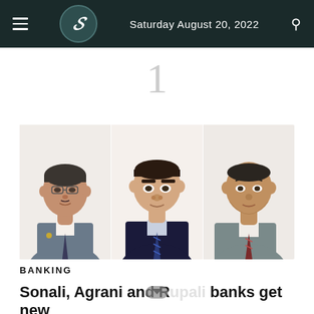Saturday August 20, 2022
1
[Figure (photo): Three men in formal business attire (suits and ties), portrait photos side by side]
BANKING
Sonali, Agrani and Rupali banks get new